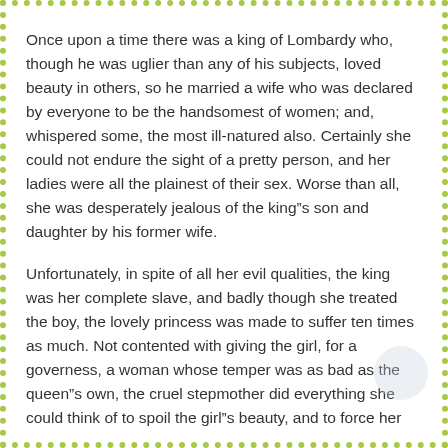Once upon a time there was a king of Lombardy who, though he was uglier than any of his subjects, loved beauty in others, so he married a wife who was declared by everyone to be the handsomest of women; and, whispered some, the most ill-natured also. Certainly she could not endure the sight of a pretty person, and her ladies were all the plainest of their sex. Worse than all, she was desperately jealous of the king”s son and daughter by his former wife.
Unfortunately, in spite of all her evil qualities, the king was her complete slave, and badly though she treated the boy, the lovely princess was made to suffer ten times as much. Not contented with giving the girl, for a governess, a woman whose temper was as bad as the queen”s own, the cruel stepmother did everything she could think of to spoil the girl”s beauty, and to force her